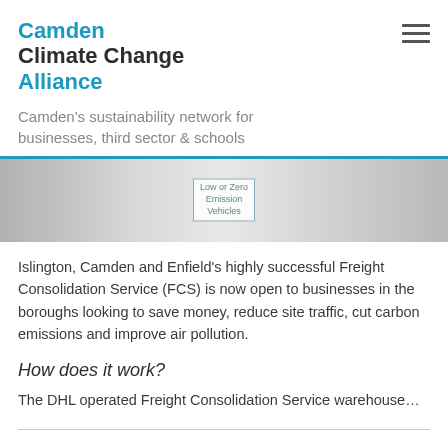Camden Climate Change Alliance
Camden's sustainability network for businesses, third sector & schools
[Figure (screenshot): Partial diagram showing a box labeled 'Low or Zero Emission Vehicles' on a grey gradient background]
Islington, Camden and Enfield's highly successful Freight Consolidation Service (FCS) is now open to businesses in the boroughs looking to save money, reduce site traffic, cut carbon emissions and improve air pollution.
How does it work?
The DHL operated Freight Consolidation Service warehouse...